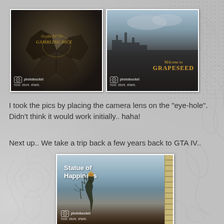[Figure (photo): Two side-by-side blurry close-up photos. Left photo shows a dark object (possibly a game cartridge or coin) with golden italic text overlay and photobucket watermark. Right photo shows a dark object with city skyline, golden 'Welcome to GRAPESEED' text, and photobucket watermark.]
I took the pics by placing the camera lens on the "eye-hole". Didn't think it would work initially.. haha!
Next up.. We take a trip back a few years back to GTA IV..
[Figure (screenshot): Photo of a GTA IV 'Statue of Happiness' landmark display or book, showing the statue arm holding a torch against a sky background. Photobucket watermark visible at bottom. Film strip border visible on right edge.]